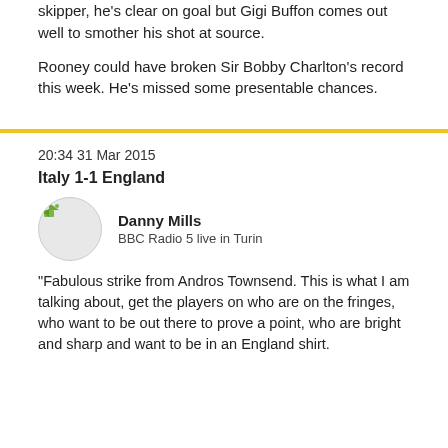skipper, he's clear on goal but Gigi Buffon comes out well to smother his shot at source.
Rooney could have broken Sir Bobby Charlton's record this week. He's missed some presentable chances.
20:34 31 Mar 2015
Italy 1-1 England
Danny Mills
BBC Radio 5 live in Turin
"Fabulous strike from Andros Townsend. This is what I am talking about, get the players on who are on the fringes, who want to be out there to prove a point, who are bright and sharp and want to be in an England shirt.